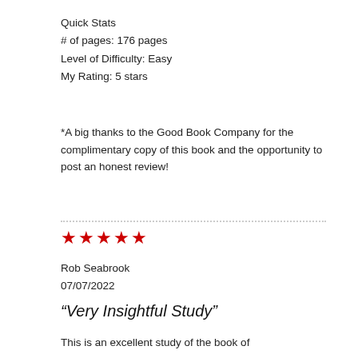Quick Stats
# of pages: 176 pages
Level of Difficulty: Easy
My Rating: 5 stars
*A big thanks to the Good Book Company for the complimentary copy of this book and the opportunity to post an honest review!
★★★★★
Rob Seabrook
07/07/2022
“Very Insightful Study”
This is an excellent study of the book of